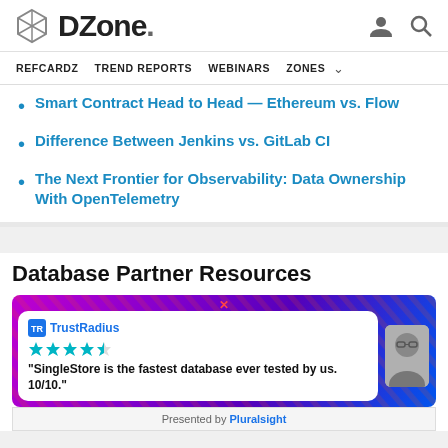DZone
REFCARDZ  TREND REPORTS  WEBINARS  ZONES
Smart Contract Head to Head — Ethereum vs. Flow
Difference Between Jenkins vs. GitLab CI
The Next Frontier for Observability: Data Ownership With OpenTelemetry
Database Partner Resources
[Figure (infographic): TrustRadius advertisement banner with quote: "SingleStore is the fastest database ever tested by us. 10/10." with star rating and person photo, purple gradient background]
Presented by Pluralsight